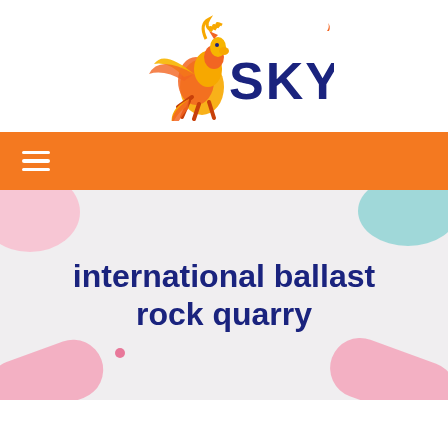[Figure (logo): SKY brand logo with a flaming Pegasus horse in orange/yellow and the text SKY in dark navy blue with a small flame superscript]
≡
international ballast rock quarry